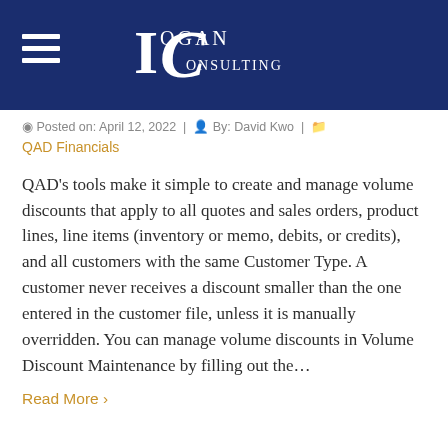Logan Consulting
Posted on: April 12, 2022 | By: David Kwo | QAD Financials
QAD's tools make it simple to create and manage volume discounts that apply to all quotes and sales orders, product lines, line items (inventory or memo, debits, or credits), and all customers with the same Customer Type. A customer never receives a discount smaller than the one entered in the customer file, unless it is manually overridden. You can manage volume discounts in Volume Discount Maintenance by filling out the…
Read More ›